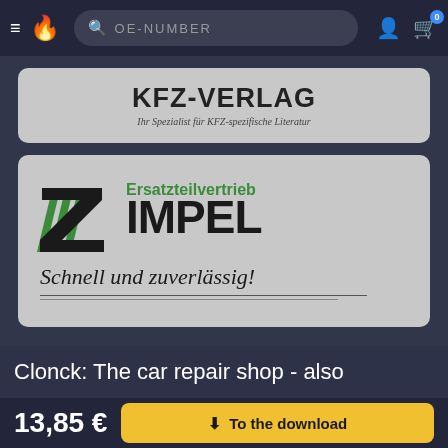OE-NUMBER navigation bar with hamburger menu, flame logo, search field, user icon, cart icon with badge 0
[Figure (logo): KFZ-VERLAG logo card - grey background with bold text KFZ-VERLAG and subtitle 'Ihr Spezialist für KFZ-spezifische Literatur']
[Figure (logo): Ersatzteilvertrieb ZIMPEL logo card - grey background with striped Z logo, green and black text, slogan 'Schnell und zuverlässig!']
Clonck: The car repair shop - also
13,85 €
To the download